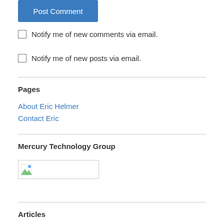Post Comment
Notify me of new comments via email.
Notify me of new posts via email.
Pages
About Eric Helmer
Contact Eric
Mercury Technology Group
[Figure (other): Broken image placeholder for Mercury Technology Group]
Articles